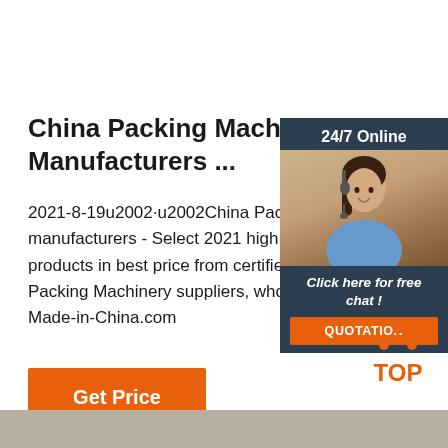China Packing Machine, Packing M... Manufacturers ...
2021-8-19u2002·u2002China Packing Mach... manufacturers - Select 2021 high quality Pac... products in best price from certified Chinese Packing Machinery suppliers, wholesalers a... Made-in-China.com
[Figure (infographic): Chat widget with '24/7 Online' header, photo of woman with headset, 'Click here for free chat!' text and orange QUOTATION button, dark navy background]
[Figure (logo): TOP logo with orange dots arranged in a triangular pattern above orange TOPtext]
[Figure (other): Orange 'Get Price' button]